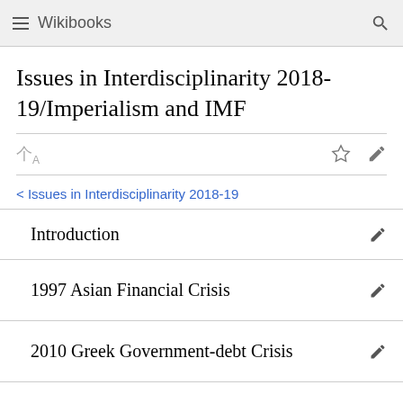Wikibooks
Issues in Interdisciplinarity 2018-19/Imperialism and IMF
< Issues in Interdisciplinarity 2018-19
Introduction
1997 Asian Financial Crisis
2010 Greek Government-debt Crisis